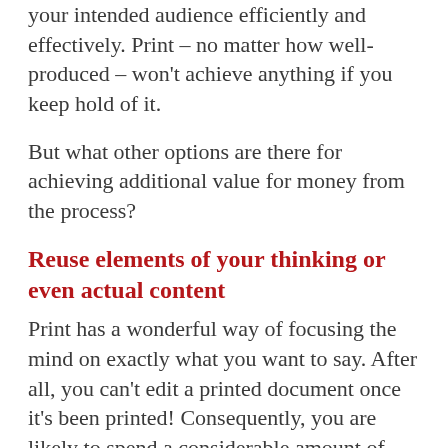your intended audience efficiently and effectively. Print – no matter how well-produced – won't achieve anything if you keep hold of it.
But what other options are there for achieving additional value for money from the process?
Reuse elements of your thinking or even actual content
Print has a wonderful way of focusing the mind on exactly what you want to say. After all, you can't edit a printed document once it's been printed! Consequently, you are likely to spend a considerable amount of time, effort, and or money both on finessing your message and choosing just the right words, images, and materials to communicate it.